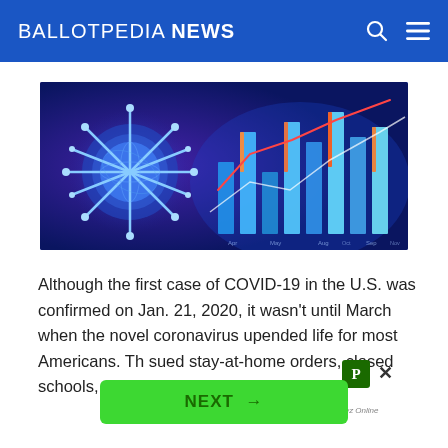BALLOTPEDIA NEWS
[Figure (photo): Stylized 3D blue coronavirus particle on left side, with financial/stock market bar charts and trend lines glowing in blue and orange on right side, dark blue/purple background — illustrating COVID-19 economic impact.]
Although the first case of COVID-19 in the U.S. was confirmed on Jan. 21, 2020, it wasn't until March when the novel coronavirus upended life for most Americans. Th…sued stay-at-home orders, closed schools, restricted travel, issued